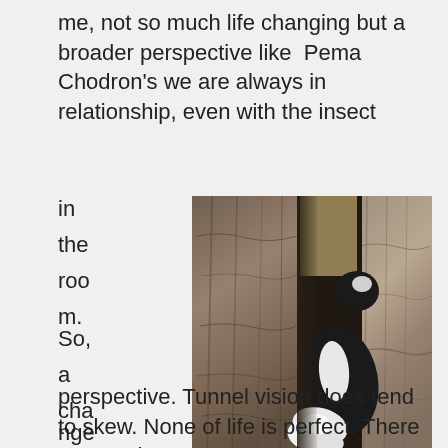me, not so much life changing but a broader perspective like  Pema Chodron's we are always in relationship, even with the insect in the roo m. So, a cha nge in
[Figure (photo): A black and white cat wedged between two tree trunks with rocky bark, tail visible and fluffy white.]
perspective. Tunnel vision does tend to skew. None of life is perfect. There are cracks